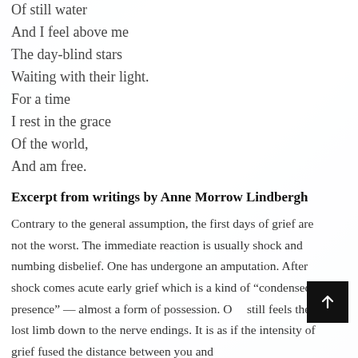Of still water
And I feel above me
The day-blind stars
Waiting with their light.
For a time
I rest in the grace
Of the world,
And am free.
Excerpt from writings by Anne Morrow Lindbergh
Contrary to the general assumption, the first days of grief are not the worst. The immediate reaction is usually shock and numbing disbelief. One has undergone an amputation. After shock comes acute early grief which is a kind of “condensed presence” — almost a form of possession. One still feels the lost limb down to the nerve endings. It is as if the intensity of grief fused the distance between you and